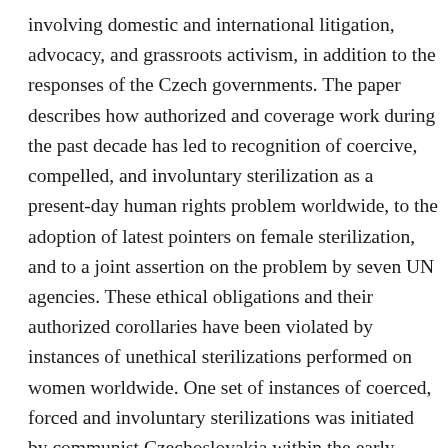involving domestic and international litigation, advocacy, and grassroots activism, in addition to the responses of the Czech governments. The paper describes how authorized and coverage work during the past decade has led to recognition of coercive, compelled, and involuntary sterilization as a present-day human rights problem worldwide, to the adoption of latest pointers on female sterilization, and to a joint assertion on the problem by seven UN agencies. These ethical obligations and their authorized corollaries have been violated by instances of unethical sterilizations performed on women worldwide. One set of instances of coerced, forced and involuntary sterilizations was initiated by communist Czechoslovakia within the early 1970s and perpetuated by its democratic successor states within the Nineteen Nineties. (Coerced sterilization entails the intention of a 3rd party to induce consent to sterilization, both by way of a benefit or threat. Involuntary (non-consensual) sterilization is a process